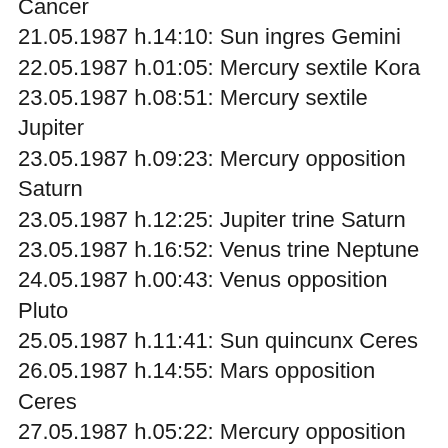Cancer
21.05.1987 h.14:10: Sun ingres Gemini
22.05.1987 h.01:05: Mercury sextile Kora
23.05.1987 h.08:51: Mercury sextile Jupiter
23.05.1987 h.09:23: Mercury opposition Saturn
23.05.1987 h.12:25: Jupiter trine Saturn
23.05.1987 h.16:52: Venus trine Neptune
24.05.1987 h.00:43: Venus opposition Pluto
25.05.1987 h.11:41: Sun quincunx Ceres
26.05.1987 h.14:55: Mars opposition Ceres
27.05.1987 h.05:22: Mercury opposition Uranus
29.05.1987 h.07:00: Sun quincunx Neptune
29.05.1987 h.16:29: Sun quincunx Pluto
30.05.1987 h.04:20: Mercury ingres